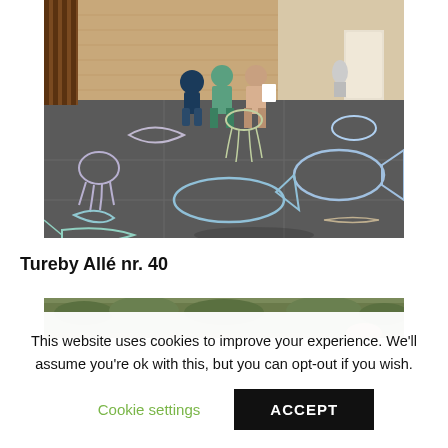[Figure (photo): Three children standing on a dark paved courtyard covered with large chalk drawings of sea creatures including fish, sharks, octopus, and other marine animals. Brick building and wooden fence in background.]
Tureby Allé nr. 40
[Figure (photo): Partial view of another image showing green hedges and a person, partially obscured by cookie consent banner.]
This website uses cookies to improve your experience. We'll assume you're ok with this, but you can opt-out if you wish.
Cookie settings
ACCEPT